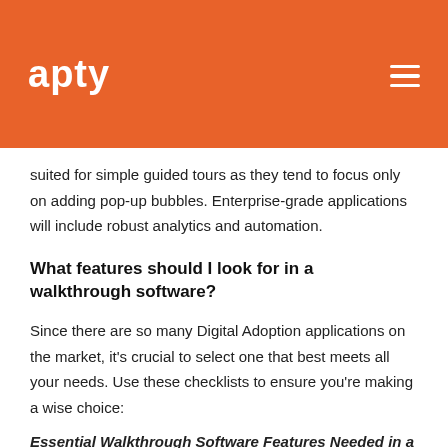apty
suited for simple guided tours as they tend to focus only on adding pop-up bubbles. Enterprise-grade applications will include robust analytics and automation.
What features should I look for in a walkthrough software?
Since there are so many Digital Adoption applications on the market, it's crucial to select one that best meets all your needs. Use these checklists to ensure you're making a wise choice:
Essential Walkthrough Software Features Needed in a